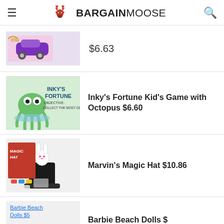BARGAINMOOSE
$6.63
Inky's Fortune Kid's Game with Octopus $6.60
Marvin's Magic Hat $10.86
Barbie Beach Dolls $5